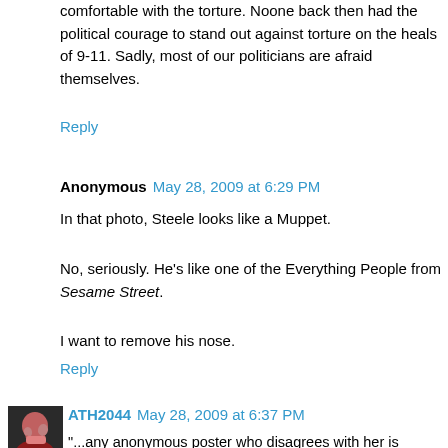comfortable with the torture. Noone back then had the political courage to stand out against torture on the heals of 9-11. Sadly, most of our politicians are afraid themselves.
Reply
Anonymous May 28, 2009 at 6:29 PM
In that photo, Steele looks like a Muppet.
No, seriously. He's like one of the Everything People from Sesame Street.
I want to remove his nose.
Reply
[Figure (photo): Small avatar photo of ATH2044 user showing a person laughing]
ATH2044 May 28, 2009 at 6:37 PM
"...any anonymous poster who disagrees with her is labeled as 'chicken shit'." -Anon 9:16
I think Elizabeth's only use of the word 'chickenshit' was in response to an anon poster claiming to be an IM in a chess